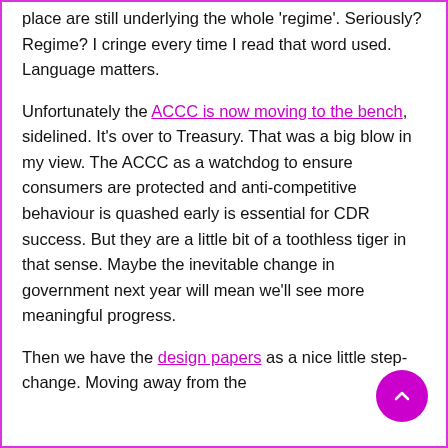place are still underlying the whole 'regime'. Seriously? Regime? I cringe every time I read that word used. Language matters.
Unfortunately the ACCC is now moving to the bench, sidelined. It's over to Treasury. That was a big blow in my view. The ACCC as a watchdog to ensure consumers are protected and anti-competitive behaviour is quashed early is essential for CDR success. But they are a little bit of a toothless tiger in that sense. Maybe the inevitable change in government next year will mean we'll see more meaningful progress.
Then we have the design papers as a nice little step-change. Moving away from the